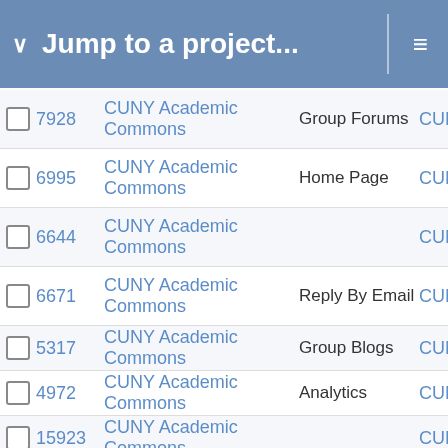Jump to a project...
|  | ID | Name | Type | Abbr |
| --- | --- | --- | --- | --- |
|  | 7928 | CUNY Academic Commons | Group Forums | CUN |
|  | 6995 | CUNY Academic Commons | Home Page | CUN |
|  | 6644 | CUNY Academic Commons |  | CUN |
|  | 6671 | CUNY Academic Commons | Reply By Email | CUN |
|  | 5317 | CUNY Academic Commons | Group Blogs | CUN |
|  | 4972 | CUNY Academic Commons | Analytics | CUN |
|  | 15923 | CUNY Academic Commons |  | CUN |
|  | 14394 | CUNY Academic Commons |  | CUN |
|  | 13912 | CUNY Academic Commons |  | CUN |
|  | 12911 | CUNY Academic Commons |  | CUN |